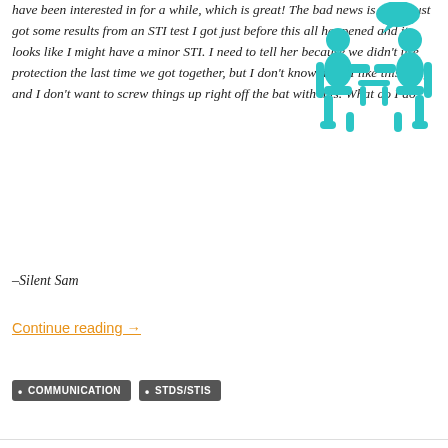have been interested in for a while, which is great! The bad news is that I just got some results from an STI test I got just before this all happened and it looks like I might have a minor STI. I need to tell her because we didn't use protection the last time we got together, but I don't know how! I like this girl, and I don't want to screw things up right off the bat with this. What do I do?
[Figure (illustration): Teal/cyan icon of two people sitting across from each other having a conversation, with a speech bubble above one of them]
–Silent Sam
Continue reading →
COMMUNICATION
STDS/STIS